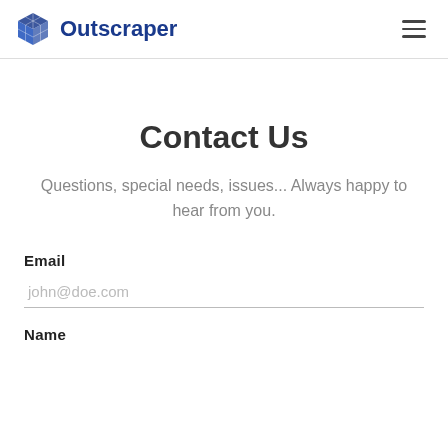Outscraper
Contact Us
Questions, special needs, issues... Always happy to hear from you.
Email
john@doe.com
Name